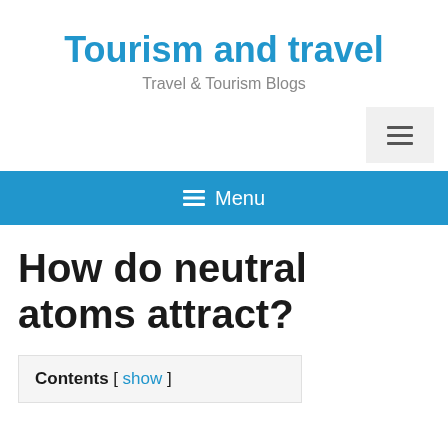Tourism and travel
Travel & Tourism Blogs
[Figure (other): Hamburger menu button (three horizontal lines) in a light gray box, aligned to the right side of the page]
≡ Menu
How do neutral atoms attract?
Contents [ show ]